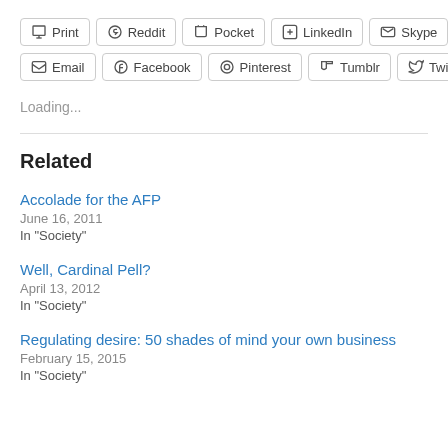[Figure (other): Social sharing buttons row 1: Print, Reddit, Pocket, LinkedIn, Skype]
[Figure (other): Social sharing buttons row 2: Email, Facebook, Pinterest, Tumblr, Twitter]
Loading...
Related
Accolade for the AFP
June 16, 2011
In "Society"
Well, Cardinal Pell?
April 13, 2012
In "Society"
Regulating desire: 50 shades of mind your own business
February 15, 2015
In "Society"